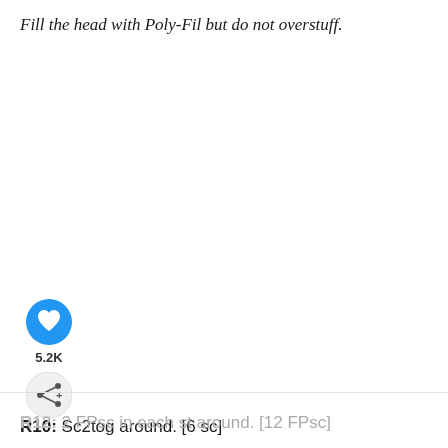Fill the head with Poly-Fil but do not overstuff.
[Figure (infographic): Blue circular like button with heart icon, like count 5.2K below it, and a grey circular share button beneath]
R10: Sc2tog around. [6 sc]
WHAT'S NEXT → Patience. A Crochet Ang...
R11: 1 FPsc in each st around. [6 FPsc]
R12: 2 FPsc in each st around. [12 FPsc]